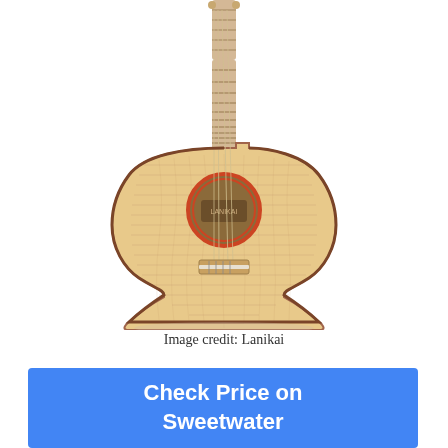[Figure (photo): A Lanikai ukulele with flame maple top and sides, cutaway body, round sound hole with red rosette, maple fingerboard, and a bridge with white saddle. The instrument is photographed against a white background.]
Image credit: Lanikai
Check Price on Sweetwater